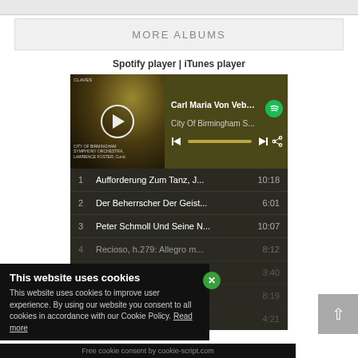MORE ALBUMS
Spotify player | iTunes player
[Figure (screenshot): Spotify player widget showing Carl Maria Von Vebe... City Of Birmingham S... with album art, play button, progress bar, and track list including: 1 Aufforderung Zum Tanz, J... 10:18, 2 Der Beherrscher Der Geist... 6:01, 3 Peter Schmoll Und Seine N... 10:07, 4 (faded) 8:12, 8:19, 3:40, 4:21]
This website uses cookies
This website uses cookies to improve user experience. By using our website you consent to all cookies in accordance with our Cookie Policy. Read more
Free cookie consent by cookie-script.com